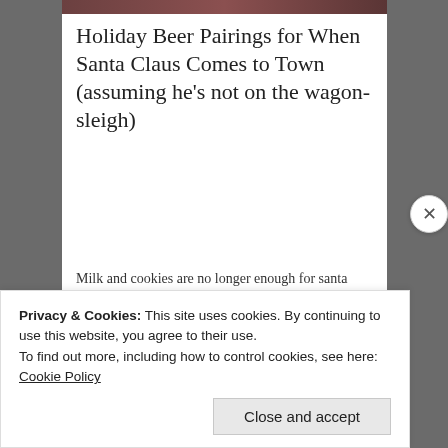[Figure (photo): Partial image strip visible at the top of the content card, showing a dark/reddish image crop]
Holiday Beer Pairings for When Santa Claus Comes to Town (assuming he's not on the wagon-sleigh)
Milk and cookies are no longer enough for santa claus. Here are some beer and food pairings for the jolly man in red (and your guests).
December 10, 2015 in Holiday.
Privacy & Cookies: This site uses cookies. By continuing to use this website, you agree to their use.
To find out more, including how to control cookies, see here: Cookie Policy
Close and accept